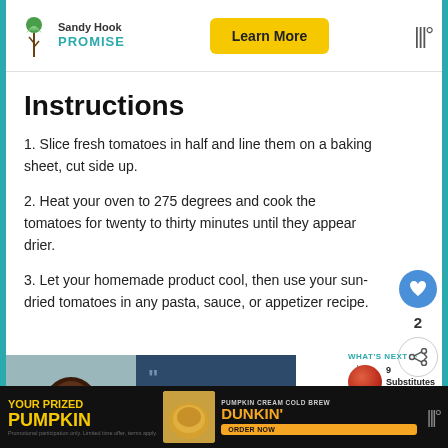[Figure (logo): Sandy Hook Promise logo with tree icon and Learn More button, weather icon]
Instructions
1. Slice fresh tomatoes in half and line them on a baking sheet, cut side up.
2. Heat your oven to 275 degrees and cook the tomatoes for twenty to thirty minutes until they appear drier.
3. Let your homemade product cool, then use your sun-dried tomatoes in any pasta, sauce, or appetizer recipe.
[Figure (photo): Article preview showing a person photo with quote text starting with 'I didn't understand' and WHAT'S NEXT panel for 9 Substitutes for Fire-...]
[Figure (advertisement): Dunkin advertisement: YOUR PRIZED PUMPKIN - PUMPKIN CREAM COLD BREW - DUNKIN' - ORDER NOW]